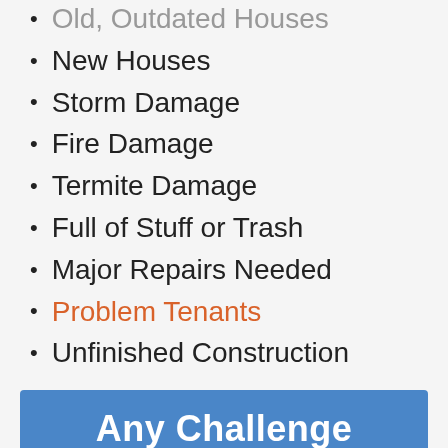Old, Outdated Houses
New Houses
Storm Damage
Fire Damage
Termite Damage
Full of Stuff or Trash
Major Repairs Needed
Problem Tenants
Unfinished Construction
Any Challenge
Financial Issues
Title Issues
Code Violations
Hoarder Home